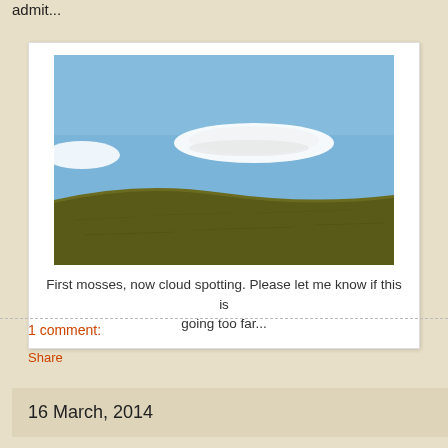admit...
[Figure (photo): A landscape photo showing a grassy hill against a clear blue sky with two flat lenticular clouds visible]
First mosses, now cloud spotting. Please let me know if this is going too far...
1 comment:
Share
16 March, 2014